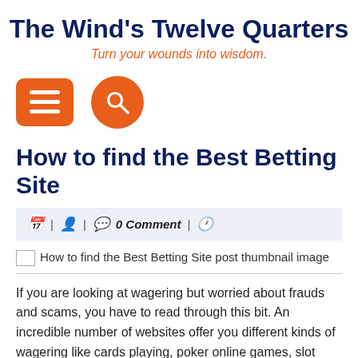The Wind's Twelve Quarters
Turn your wounds into wisdom.
[Figure (other): Navigation icons: orange rounded-rectangle menu (hamburger) button and orange circle search button]
How to find the Best Betting Site
🗓 | 👤 | 💬 0 Comment | 🕐
[Figure (other): How to find the Best Betting Site post thumbnail image (broken image placeholder)]
If you are looking at wagering but worried about frauds and scams, you have to read through this bit. An incredible number of websites offer you different kinds of wagering like cards playing, poker online games, slot machine games,